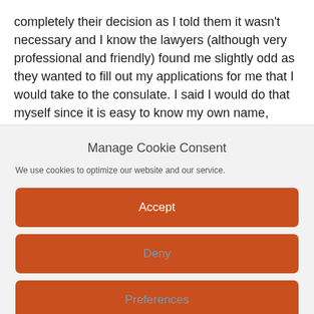completely their decision as I told them it wasn't necessary and I know the lawyers (although very professional and friendly) found me slightly odd as they wanted to fill out my applications for me that I would take to the consulate. I said I would do that myself since it is easy to know my own name, address, past history, etc.
Manage Cookie Consent
We use cookies to optimize our website and our service.
Accept
Deny
Preferences